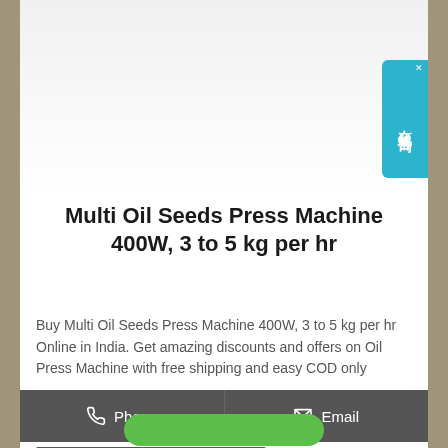[Figure (photo): Blue Multi Oil Seeds Press Machine, industrial equipment photo on white background]
[Figure (other): Chinese live chat widget with text 在线咨询 (online consultation) in cyan/teal color]
Multi Oil Seeds Press Machine 400W, 3 to 5 kg per hr
Buy Multi Oil Seeds Press Machine 400W, 3 to 5 kg per hr Online in India. Get amazing discounts and offers on Oil Press Machine with free shipping and easy COD only
Phone
Email
Whatsapp